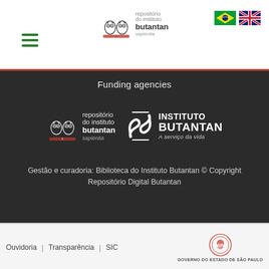[Figure (logo): Hamburger menu icon (three green horizontal bars) at top left]
[Figure (logo): Sapientia - repositório do instituto butantan logo with two owls, centered in header]
[Figure (logo): Brazilian flag and UK flag icons at top right]
Funding agencies
[Figure (logo): Sapientia repositório do instituto butantan logo (white version) in dark section]
[Figure (logo): Instituto Butantan A serviço da vida logo (white version) in dark section]
Gestão e curadoria: Biblioteca do Instituto Butantan © Copyright Repositório Digital Butantan
Ouvidoria | Transparência | SIC
[Figure (logo): Governo do Estado de São Paulo seal/logo at bottom right]